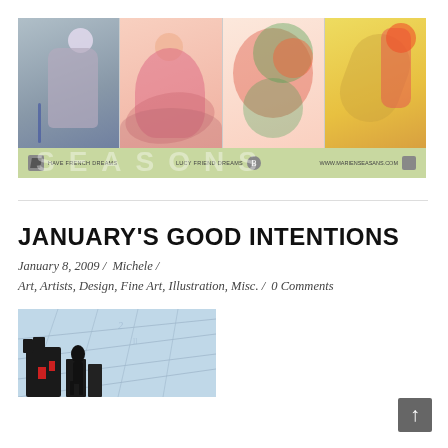[Figure (illustration): A banner image showing four art panels side by side featuring illustrated figures in different styles and color palettes, with a green banner bar beneath containing text and icons forming the word SEASONS]
JANUARY'S GOOD INTENTIONS
January 8, 2009 / Michele / Art, Artists, Design, Fine Art, Illustration, Misc. / 0 Comments
[Figure (illustration): A thumbnail image showing a blue-toned illustration with architectural/cityscape elements and a silhouette figure]